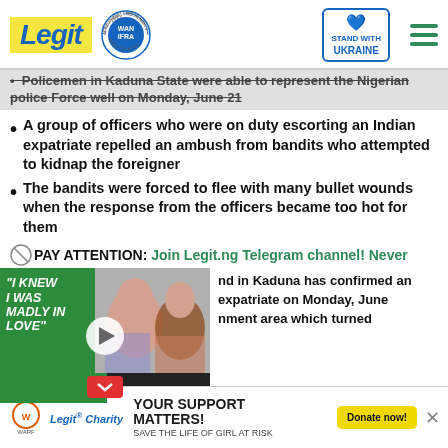Legit — Best News Website in Africa 2021 · WAN IFRA · Stand with Ukraine
Policemen in Kaduna State were able to represent the Nigerian police Force well on Monday, June 21
A group of officers who were on duty escorting an Indian expatriate repelled an ambush from bandits who attempted to kidnap the foreigner
The bandits were forced to flee with many bullet wounds when the response from the officers became too hot for them
PAY ATTENTION: Join Legit.ng Telegram channel! Never
[Figure (screenshot): Video thumbnail showing two people with quote 'I KNEW I WAS MADLY IN LOVE' on green background with play button]
nd in Kaduna has confirmed an expatriate on Monday, June nment area which turned
YOUR SUPPORT MATTERS! SAVE THE LIFE OF GIRL AT RISK — Legit Charity / WARF — Donate now!